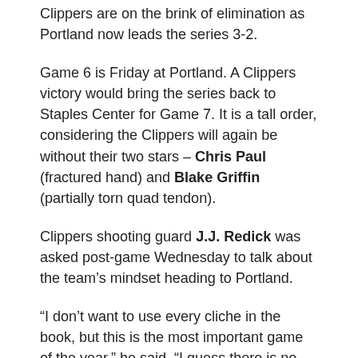Clippers are on the brink of elimination as Portland now leads the series 3-2.
Game 6 is Friday at Portland. A Clippers victory would bring the series back to Staples Center for Game 7. It is a tall order, considering the Clippers will again be without their two stars – Chris Paul (fractured hand) and Blake Griffin (partially torn quad tendon).
Clippers shooting guard J.J. Redick was asked post-game Wednesday to talk about the team's mindset heading to Portland.
“I don’t want to use every cliche in the book, but this is the most important game of the year,” he said. “I guess there is no other way to say it. I don’t want to equate a basketball game to death, but it is do or die.
“We have to figure out a way to win the game and get it back here in front of our home crowd for Game 7.”